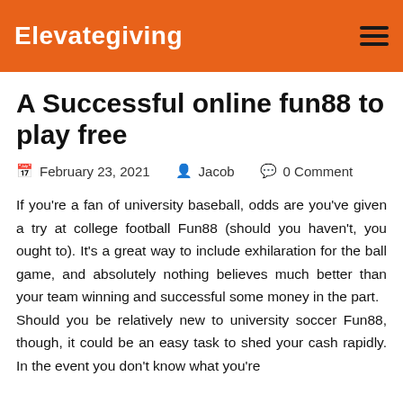Elevategiving
A Successful online fun88 to play free
February 23, 2021   Jacob   0 Comment
If you're a fan of university baseball, odds are you've given a try at college football Fun88 (should you haven't, you ought to). It's a great way to include exhilaration for the ball game, and absolutely nothing believes much better than your team winning and successful some money in the part.
Should you be relatively new to university soccer Fun88, though, it could be an easy task to shed your cash rapidly. In the event you don't know what you're